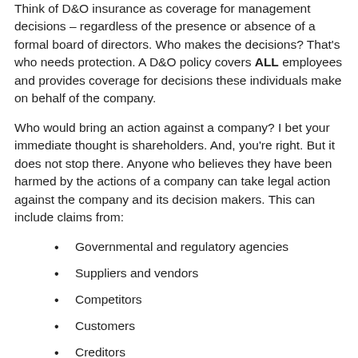Think of D&O insurance as coverage for management decisions – regardless of the presence or absence of a formal board of directors. Who makes the decisions? That's who needs protection. A D&O policy covers ALL employees and provides coverage for decisions these individuals make on behalf of the company.
Who would bring an action against a company? I bet your immediate thought is shareholders. And, you're right. But it does not stop there. Anyone who believes they have been harmed by the actions of a company can take legal action against the company and its decision makers. This can include claims from:
Governmental and regulatory agencies
Suppliers and vendors
Competitors
Customers
Creditors